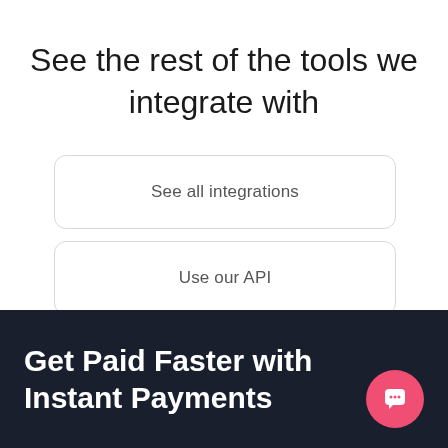See the rest of the tools we integrate with
See all integrations
Use our API
Get Paid Faster with Instant Payments